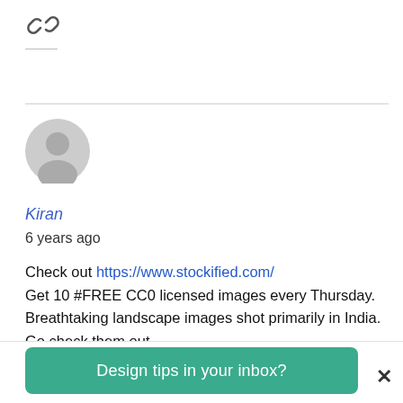[Figure (illustration): Chain link icon with a short underline label below it]
Kiran
6 years ago

Check out https://www.stockified.com/
Get 10 #FREE CC0 licensed images every Thursday. Breathtaking landscape images shot primarily in India. Go check them out.
Design tips in your inbox?